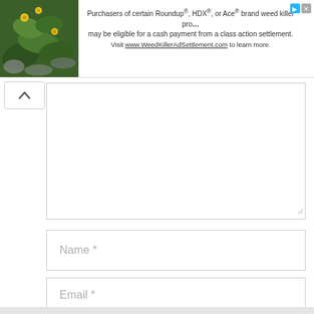[Figure (screenshot): Advertisement banner: plant/flower image on left, text about Roundup class action settlement on right with close/info icons]
Purchasers of certain Roundup®, HDX®, or Ace® brand weed killer products may be eligible for a cash payment from a class action settlement. Visit www.WeedKillerAdSettlement.com to learn more.
[Figure (other): Collapse/chevron-up button (^) in white rounded box]
[Figure (other): Comment text area input box (empty)]
Name *
Email *
Website
POST COMMENT
[Figure (other): Scroll to top button (grey square with chevron up arrow)]